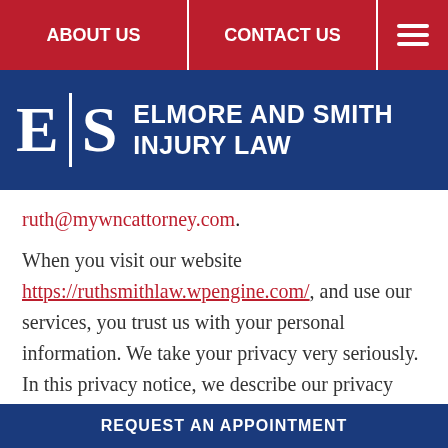ABOUT US | CONTACT US
[Figure (logo): Elmore and Smith Injury Law logo with letters E and S separated by a vertical bar on a dark blue background, followed by the firm name in white bold text]
ruth@mywncattorney.com.
When you visit our website https://ruthsmithlaw.wpengine.com/, and use our services, you trust us with your personal information. We take your privacy very seriously. In this privacy notice, we describe our privacy policy. We seek to explain to you in the clearest way possible what information we
REQUEST AN APPOINTMENT